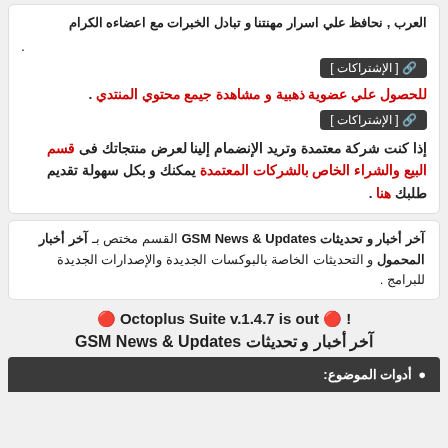العرب , نحافظ علي اسرار مهنتنا و تبادل الخبرات مع اعضاءه الكرام
[ الإشتراكات ] (button)
للحصول علي عضوية ذهبية و مشاهدة جيمع محتوي المنتدي . (red bold)
[ الإشتراكات ] (button)
إذا كنت شركة معتمدة وتريد الإنضمام إلينا لعرض منتجاتك فى قسم البيع والشراء الخاص بالشركات المعتمدة يمكنك و بكل سهولة تقديم طلبك هنا .
آخر أخبار و تحديثات GSM News & Updates القسم مختص بـ آخر أخبار المحمول و التحديثات الخاصة بالبوكسات الجديدة والإصدارات الجديدة للبرامج .
🔴 Octoplus Suite v.1.4.7 is out 🔴 !
آخر أخبار و تحديثات GSM News & Updates
أدوات الموضوع :.